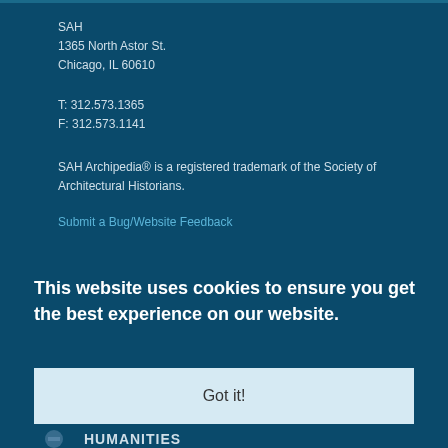SAH
1365 North Astor St.
Chicago, IL 60610
T: 312.573.1365
F: 312.573.1141
SAH Archipedia® is a registered trademark of the Society of Architectural Historians.
Submit a Bug/Website Feedback
This website uses cookies to ensure you get the best experience on our website.
Got it!
HUMANITIES